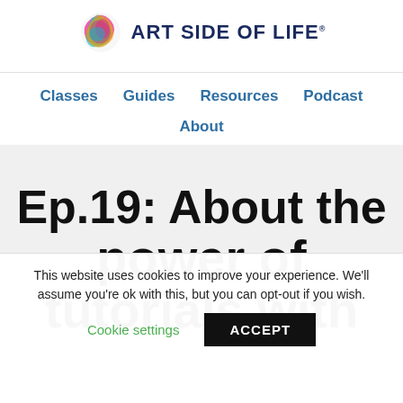ART SIDE OF LIFE
Classes   Guides   Resources   Podcast
About
Ep.19: About the power of tutorials with
This website uses cookies to improve your experience. We'll assume you're ok with this, but you can opt-out if you wish.
Cookie settings   ACCEPT